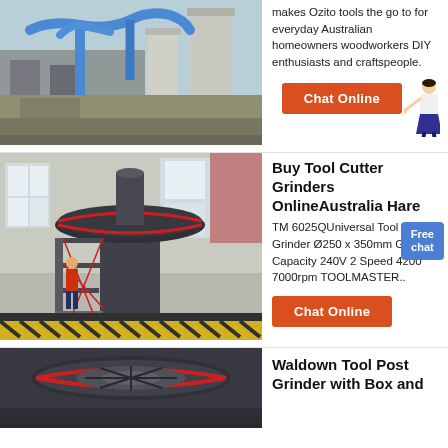[Figure (photo): Industrial facility with blue pipes and tall cylindrical silos/towers]
makes Ozito tools the go to for everyday Australian homeowners woodworkers DIY enthusiasts and craftspeople.
[Figure (illustration): Chat Online button with person figure and Free chat badge]
[Figure (photo): Industrial grinder or mill machine inside factory building]
Buy Tool Cutter Grinders OnlineAustralia Hare
TM 6025QUniversal Tool Cutter Grinder Ø250 x 350mm Grinding Capacity 240V 2 Speed 4200 7000rpm TOOLMASTER..
[Figure (illustration): Chat Online button]
[Figure (photo): Close-up of industrial grinding machine top with red accent ring]
Waldown Tool Post Grinder with Box and